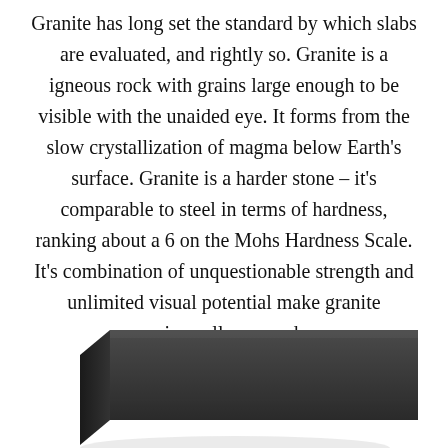Granite has long set the standard by which slabs are evaluated, and rightly so. Granite is a igneous rock with grains large enough to be visible with the unaided eye. It forms from the slow crystallization of magma below Earth's surface. Granite is a harder stone – it's comparable to steel in terms of hardness, ranking about a 6 on the Mohs Hardness Scale. It's combination of unquestionable strength and unlimited visual potential make granite universally revered.
[Figure (photo): A dark charcoal/black granite slab shown at an angle against a white background, occupying the bottom portion of the page.]